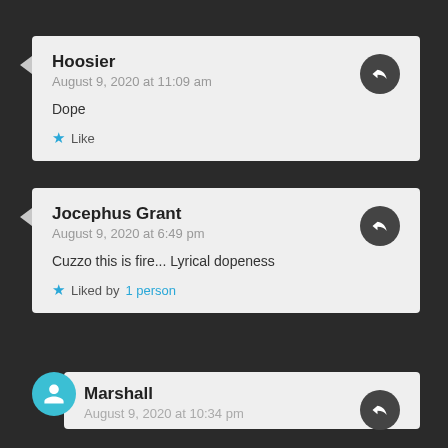Hoosier
August 9, 2020 at 11:09 am

Dope

★ Like
Jocephus Grant
August 9, 2020 at 6:49 pm

Cuzzo this is fire... Lyrical dopeness

★ Liked by 1 person
Marshall
August 9, 2020 at 10:34 pm